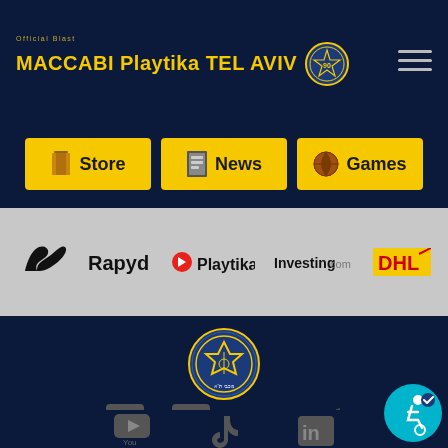Official Blast MACCABI Playtika TEL AVIV
Store
News
Games
[Figure (logo): Sponsors bar with logos: Puma, Rapyd, Playtika, Investing.com, DHL]
[Figure (logo): Maccabi Tel Aviv club badge in footer]
[Figure (infographic): Social media icons: Facebook, Instagram, Twitter, Telegram, YouTube, TikTok, LinkedIn]
[Figure (infographic): Accessibility widget button (cyan circle with wheelchair icon)]